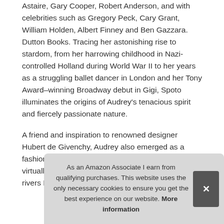Astaire, Gary Cooper, Robert Anderson, and with celebrities such as Gregory Peck, Cary Grant, William Holden, Albert Finney and Ben Gazzara. Dutton Books. Tracing her astonishing rise to stardom, from her harrowing childhood in Nazi-controlled Holland during World War II to her years as a struggling ballet dancer in London and her Tony Award–winning Broadway debut in Gigi, Spoto illuminates the origins of Audrey's tenacious spirit and fiercely passionate nature.
A friend and inspiration to renowned designer Hubert de Givenchy, Audrey also emerged as a fashion icon and her influence on women's fashion virtually unparalleled to this day. Atria Books. Three rivers Press CA.
As an Amazon Associate I earn from qualifying purchases. This website uses the only necessary cookies to ensure you get the best experience on our website. More information